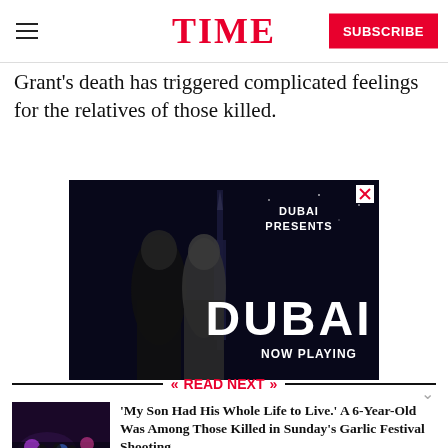TIME
Grant's death has triggered complicated feelings for the relatives of those killed.
[Figure (photo): Dubai tourism advertisement featuring two people (a woman and a man) in front of a tower, with text 'DUBAI PRESENTS' and 'DUBAI NOW PLAYING']
READ NEXT
[Figure (photo): Thumbnail photo for article about Gilroy Garlic Festival shooting, showing a dark event scene with colorful lights]
'My Son Had His Whole Life to Live.' A 6-Year-Old Was Among Those Killed in Sunday's Garlic Festival Shooting